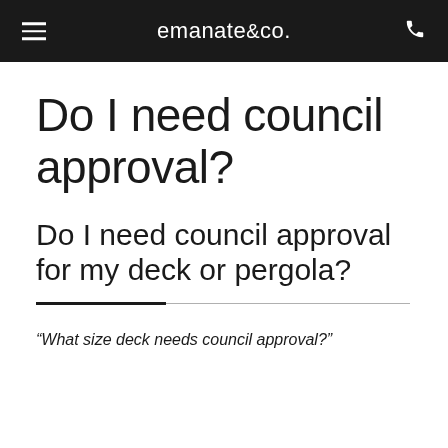emanate&co.
Do I need council approval?
Do I need council approval for my deck or pergola?
“What size deck needs council approval?”